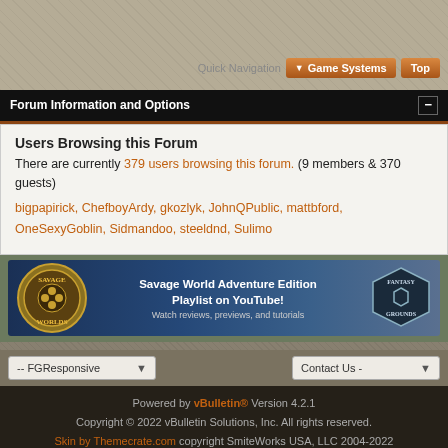Quick Navigation  Game Systems  Top
Forum Information and Options
Users Browsing this Forum
There are currently 379 users browsing this forum. (9 members & 370 guests)
bigpapirick, ChefboyArdy, gkozlyk, JohnQPublic, mattbford, OneSexyGoblin, Sidmandoo, steeldnd, Sulimo
[Figure (illustration): Savage World Adventure Edition Playlist on YouTube! Watch reviews, previews, and tutorials - advertising banner]
-- FGResponsive  Contact Us
Powered by vBulletin® Version 4.2.1
Copyright © 2022 vBulletin Solutions, Inc. All rights reserved.
Skin by Themecrate.com copyright SmiteWorks USA, LLC 2004-2022
Follow us on: